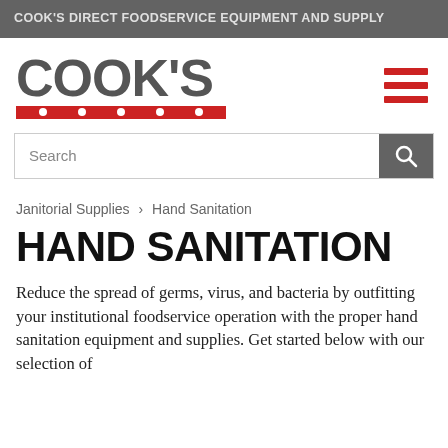COOK'S DIRECT FOODSERVICE EQUIPMENT AND SUPPLY
[Figure (logo): Cook's Direct logo with red bar and dots below text]
Search
Janitorial Supplies > Hand Sanitation
HAND SANITATION
Reduce the spread of germs, virus, and bacteria by outfitting your institutional foodservice operation with the proper hand sanitation equipment and supplies. Get started below with our selection of